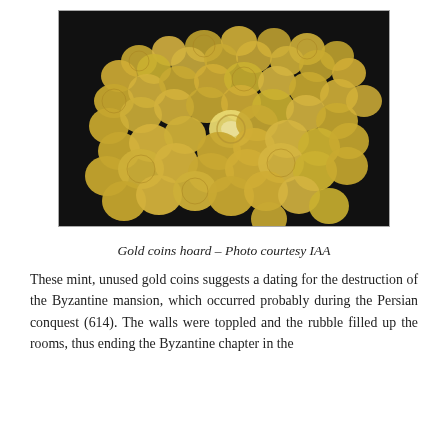[Figure (photo): A large pile of gold coins (Byzantine-era) photographed against a dark background. The coins appear round, golden, and numerous, arranged in a heap.]
Gold coins hoard  – Photo courtesy IAA
These mint, unused gold coins suggests a dating for the destruction of the Byzantine mansion, which occurred probably during the Persian conquest (614). The walls were toppled and the rubble filled up the rooms, thus ending the Byzantine chapter in the history of the site.